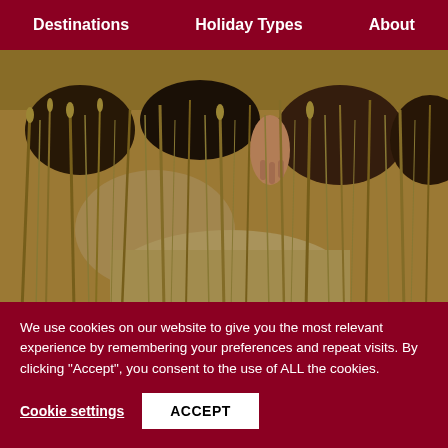Destinations   Holiday Types   About
[Figure (photo): Close-up photograph of animals (meerkats or similar) among dry golden grass/reeds, with a hand reaching in from above. Copyright AGMarks watermark visible.]
© AGMarks
I have seen photos of people
We use cookies on our website to give you the most relevant experience by remembering your preferences and repeat visits. By clicking "Accept", you consent to the use of ALL the cookies.
Cookie settings   ACCEPT